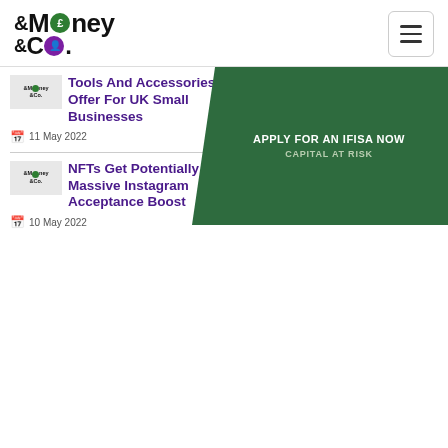Money & Co. — Navigation header with logo and hamburger menu
[Figure (logo): Money & Co. logo with pound sign circle and person circle]
Tools And Accessories Offer For UK Small Businesses
11 May 2022
[Figure (logo): Money & Co. thumbnail logo]
NFTs Get Potentially Massive Instagram Acceptance Boost
10 May 2022
[Figure (infographic): Green pentagon banner: APPLY FOR AN IFISA NOW / CAPITAL AT RISK]